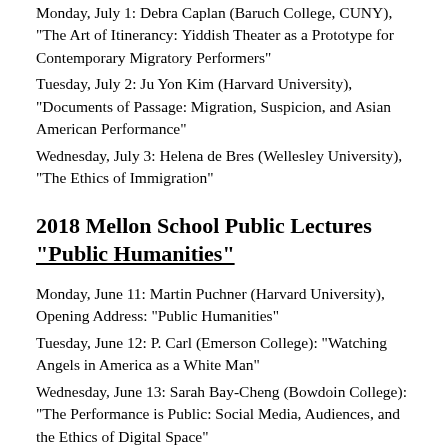Monday, July 1: Debra Caplan (Baruch College, CUNY), "The Art of Itinerancy: Yiddish Theater as a Prototype for Contemporary Migratory Performers"
Tuesday, July 2: Ju Yon Kim (Harvard University), "Documents of Passage: Migration, Suspicion, and Asian American Performance"
Wednesday, July 3: Helena de Bres (Wellesley University), "The Ethics of Immigration"
2018 Mellon School Public Lectures
"Public Humanities"
Monday, June 11: Martin Puchner (Harvard University), Opening Address: "Public Humanities"
Tuesday, June 12: P. Carl (Emerson College): "Watching Angels in America as a White Man"
Wednesday, June 13: Sarah Bay-Cheng (Bowdoin College): "The Performance is Public: Social Media, Audiences, and the Ethics of Digital Space"
Thursday, June 14: Stephen Greenblatt (Harvard University):